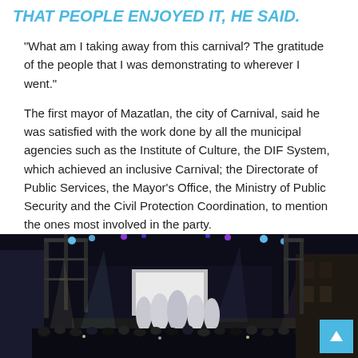THAT PEOPLE ENJOYED IT, HE SAID.
“What am I taking away from this carnival? The gratitude of the people that I was demonstrating to wherever I went.”
The first mayor of Mazatlan, the city of Carnival, said he was satisfied with the work done by all the municipal agencies such as the Institute of Culture, the DIF System, which achieved an inclusive Carnival; the Directorate of Public Services, the Mayor’s Office, the Ministry of Public Security and the Civil Protection Coordination, to mention the ones most involved in the party.
[Figure (photo): Nighttime carnival scene with performers in elaborate costumes on a stage with trusses and lighting, large crowd in foreground]